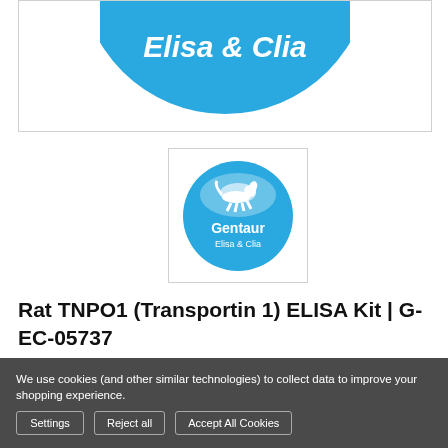[Figure (logo): Partial top view of Gentaur Elisa & Clia circular blue logo, showing white text 'Elisa & Clia' on blue background, cropped at top]
[Figure (logo): Gentaur Elisa & Clia circular logo with blue border, white background, showing a dog/horse figure jumping over something, with 'Gentaur' and 'Elisa & Clia' text in blue]
Rat TNPO1 (Transportin 1) ELISA Kit | G-EC-05737
We use cookies (and other similar technologies) to collect data to improve your shopping experience.
Settings  Reject all  Accept All Cookies